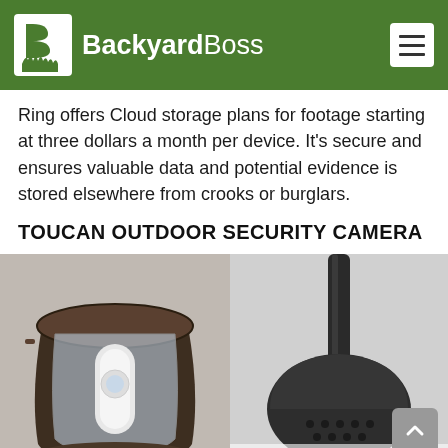BackyardBoss
Ring offers Cloud storage plans for footage starting at three dollars a month per device. It's secure and ensures valuable data and potential evidence is stored elsewhere from crooks or burglars.
TOUCAN OUTDOOR SECURITY CAMERA
[Figure (photo): Two product photos of the Toucan Outdoor Security Camera: left image shows a lantern-style camera housing with a clear lens, right image shows the camera mounted on a pole viewed from below]